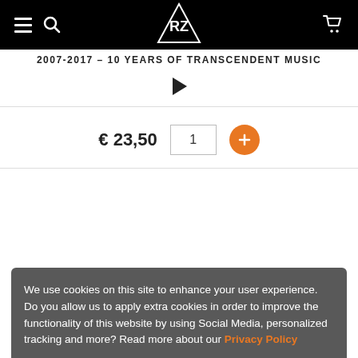Navigation bar with hamburger menu, search icon, logo, and cart icon
2007-2017 – 10 YEARS OF TRANSCENDENT MUSIC
[Figure (other): Play button triangle icon]
€ 23,50
We use cookies on this site to enhance your user experience. Do you allow us to apply extra cookies in order to improve the functionality of this website by using Social Media, personalized tracking and more? Read more about our Privacy Policy
[Figure (screenshot): Cookie consent banner overlay]